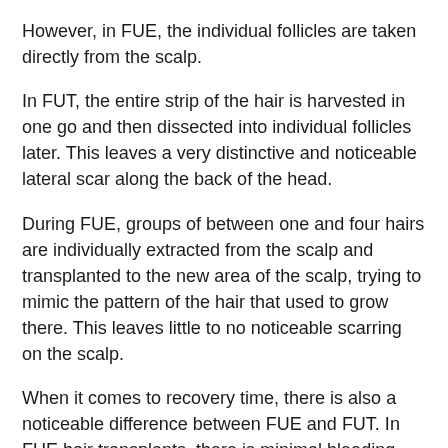However, in FUE, the individual follicles are taken directly from the scalp.
In FUT, the entire strip of the hair is harvested in one go and then dissected into individual follicles later. This leaves a very distinctive and noticeable lateral scar along the back of the head.
During FUE, groups of between one and four hairs are individually extracted from the scalp and transplanted to the new area of the scalp, trying to mimic the pattern of the hair that used to grow there. This leaves little to no noticeable scarring on the scalp.
When it comes to recovery time, there is also a noticeable difference between FUE and FUT. In FUE hair transplants, there is minimal bleeding, and recovery is usually complete within seven days. However, during FUT, as an entire strip of the scalp has been excised, it often takes weeks for the scars to heal over.